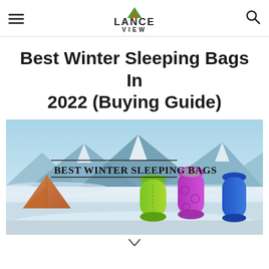Lance View — navigation header with hamburger menu, logo, and search icon
Best Winter Sleeping Bags In 2022 (Buying Guide)
[Figure (photo): Hero image showing three colorful winter sleeping bags (green, purple, and blue) standing upright in a snowy mountain landscape with an orange tent, sky and mountain range in background. Overlaid text reads 'Best Winter Sleeping Bags' in bold serif font with decorative lines.]